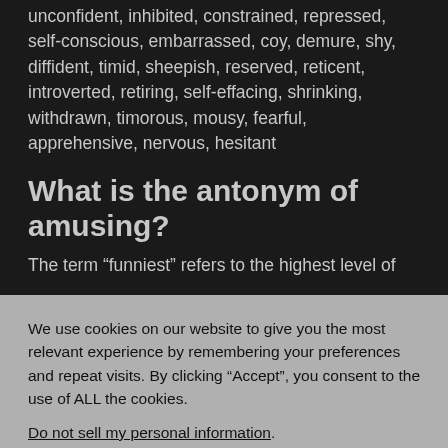unconfident, inhibited, constrained, repressed, self-conscious, embarrassed, coy, demure, shy, diffident, timid, sheepish, reserved, reticent, introverted, retiring, self-effacing, shrinking, withdrawn, timorous, mousy, fearful, apprehensive, nervous, hesitant
What is the antonym of amusing?
The term “funniest” refers to the highest level of
We use cookies on our website to give you the most relevant experience by remembering your preferences and repeat visits. By clicking “Accept”, you consent to the use of ALL the cookies.
Do not sell my personal information.